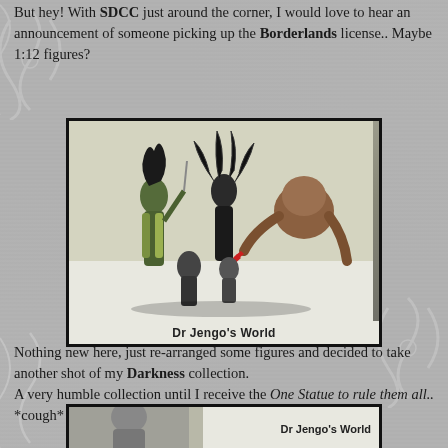But hey! With SDCC just around the corner, I would love to hear an announcement of someone picking up the Borderlands license.. Maybe 1:12 figures?
[Figure (photo): Photo of several action figures from The Darkness collection arranged on a white shelf, including two tall dark female figures with flowing hair and one large brown creature figure, plus smaller figures. Caption reads 'Dr Jengo's World'.]
Nothing new here, just re-arranged some figures and decided to take another shot of my Darkness collection. A very humble collection until I receive the One Statue to rule them all.. *cough* XM *cough* Studios *cough*
[Figure (photo): Partial photo showing bottom portion with figures, caption reads 'Dr Jengo's World'.]